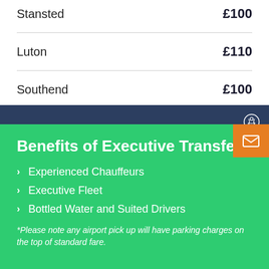| Location | Price |
| --- | --- |
| Stansted | £100 |
| Luton | £110 |
| Southend | £100 |
Benefits of Executive Transfer
Experienced Chauffeurs
Executive Fleet
Bottled Water and Suited Drivers
*Please note any airport pick up will have parking charges on the top of standard fare.